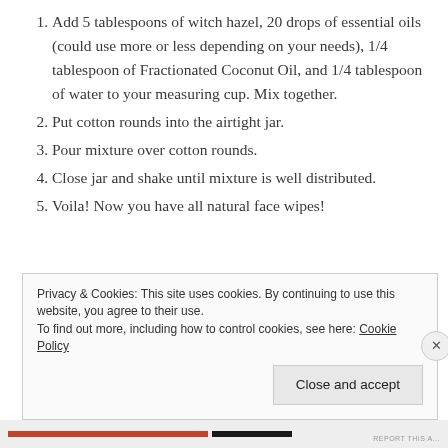Add 5 tablespoons of witch hazel, 20 drops of essential oils (could use more or less depending on your needs), 1/4 tablespoon of Fractionated Coconut Oil, and 1/4 tablespoon of water to your measuring cup. Mix together.
Put cotton rounds into the airtight jar.
Pour mixture over cotton rounds.
Close jar and shake until mixture is well distributed.
Voila! Now you have all natural face wipes!
Privacy & Cookies: This site uses cookies. By continuing to use this website, you agree to their use.
To find out more, including how to control cookies, see here: Cookie Policy
Close and accept